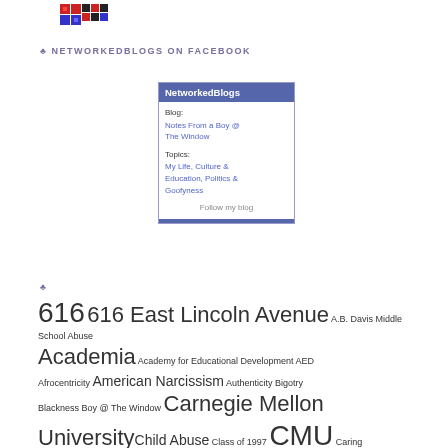[Figure (logo): Pixel-art style logo with colorful blocks in purple/red/blue]
♣ NETWORKEDBLOGS ON FACEBOOK
[Figure (screenshot): NetworkedBlogs widget showing Blog: Notes From a Boy @ The Window, Topics: My Life, Culture & Education, Politics & Goofyness, Follow my blog link]
♣
616 616 East Lincoln Avenue A.B. Davis Middle School Abuse Academia Academy for Educational Development AED Afrocentricity American Narcissism Authenticity Bigotry Blackness Boy @ The Window Carnegie Mellon University Child Abuse Class of 1997 CMU Spring...